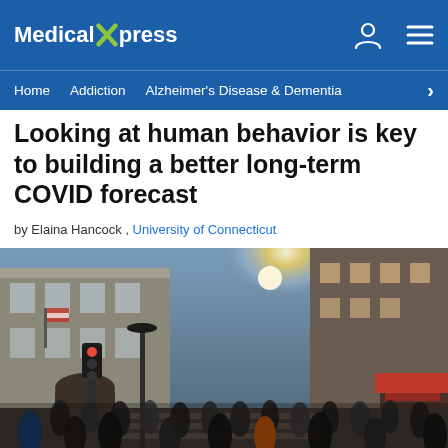Medical Xpress
Home  Addiction  Alzheimer's Disease & Dementia
Looking at human behavior is key to building a better long-term COVID forecast
by Elaina Hancock , University of Connecticut
[Figure (photo): Busy city street scene with crowds of people walking, tall buildings on both sides, bright sunlight in the background, a Starbucks visible on the right side]